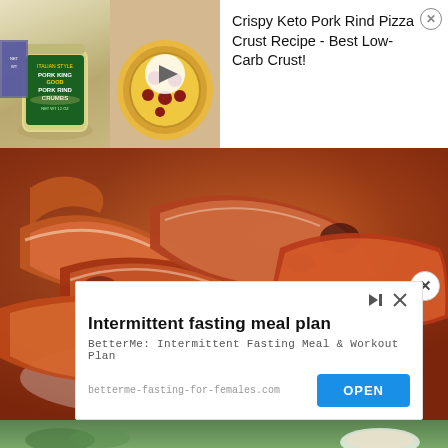[Figure (photo): Advertisement banner with two food images: a jar of Pork King Good Italian Style Pork Rind Crumbs on the left, and a pepperoni pizza on the right with a play button overlay]
Crispy Keto Pork Rind Pizza Crust Recipe - Best Low-Carb Crust!
[Figure (photo): Close-up photo of crispy cooked bacon strips on a white plate]
[Figure (screenshot): Advertisement overlay for BetterMe intermittent fasting meal plan with OPEN button]
Intermittent fasting meal plan
BetterMe: Intermittent Fasting Meal & Workout Plan
betterme-fasting-for-females.com
OPEN